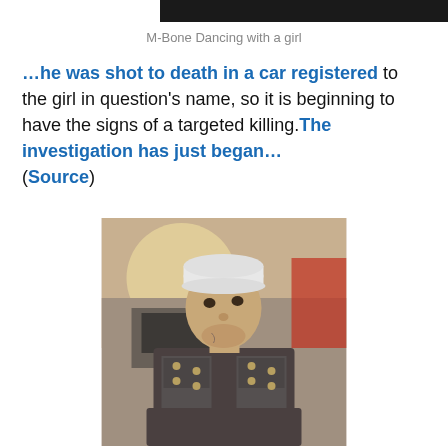[Figure (photo): Dark image bar at top (cropped photo of M-Bone dancing with a girl)]
M-Bone Dancing with a girl
…he was shot to death in a car registered to the girl in question's name, so it is beginning to have the signs of a targeted killing.The investigation has just began… (Source)
[Figure (photo): Photo of M-Bone, a young man wearing a white cap and dark military-style jacket with gold buttons, looking upward, outdoors with camera equipment visible in background]